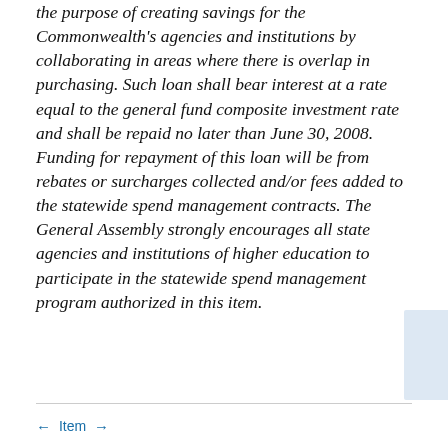the purpose of creating savings for the Commonwealth's agencies and institutions by collaborating in areas where there is overlap in purchasing. Such loan shall bear interest at a rate equal to the general fund composite investment rate and shall be repaid no later than June 30, 2008. Funding for repayment of this loan will be from rebates or surcharges collected and/or fees added to the statewide spend management contracts. The General Assembly strongly encourages all state agencies and institutions of higher education to participate in the statewide spend management program authorized in this item.
← Item →